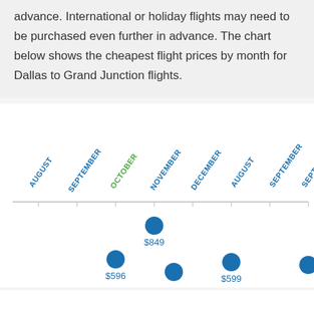advance. International or holiday flights may need to be purchased even further in advance. The chart below shows the cheapest flight prices by month for Dallas to Grand Junction flights.
[Figure (scatter-plot): Dot plot of cheapest flight prices by month. Months shown on x-axis with rotated labels. Visible data points: $849 (top, appears to be November area), $596 (lower, October area), $599 (lower, December/August area). October label is highlighted in green.]